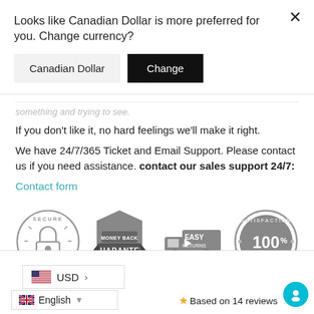Looks like Canadian Dollar is more preferred for you. Change currency?
Canadian Dollar | Change
something and trying to see.
If you don't like it, no hard feelings we'll make it right.
We have 24/7/365 Ticket and Email Support. Please contact us if you need assistance. contact our sales support 24/7:
Contact form
[Figure (infographic): Four trust badges: Secure Ordering (padlock in circle), Money Back Guarantee (shield), Easy Returns (truck with arrow), Satisfaction 100% Guaranteed (circular stamp)]
USD >
English
Based on 14 reviews